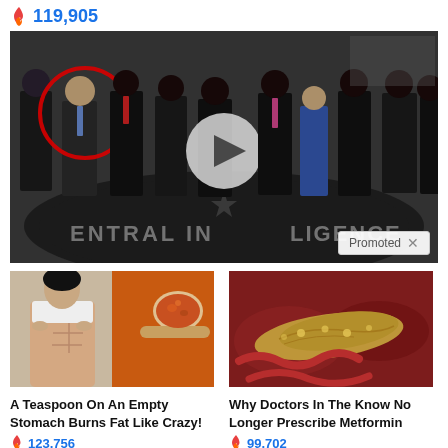🔥 119,905
[Figure (photo): Group of men in suits standing in CIA headquarters lobby with a red circle highlighting one person on the left; white video play button overlay in center]
Promoted ×
[Figure (photo): Split image: woman showing abs on left, spoon with spices on right — advertisement image]
A Teaspoon On An Empty Stomach Burns Fat Like Crazy!
🔥 123,756
[Figure (photo): Medical illustration of human pancreas and digestive organs — advertisement image]
Why Doctors In The Know No Longer Prescribe Metformin
🔥 99,702